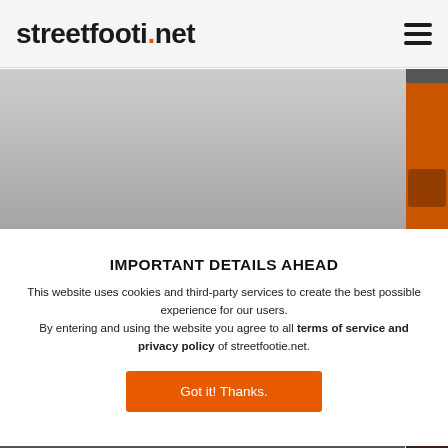streetfootie.net
[Figure (screenshot): Gray gradient banner background with orange panel on right side, partially visible website content]
IMPORTANT DETAILS AHEAD
This website uses cookies and third-party services to create the best possible experience for our users. By entering and using the website you agree to all terms of service and privacy policy of streetfootie.net.
Got it! Thanks.
[Figure (screenshot): Dark gray background area partially visible at bottom of page]